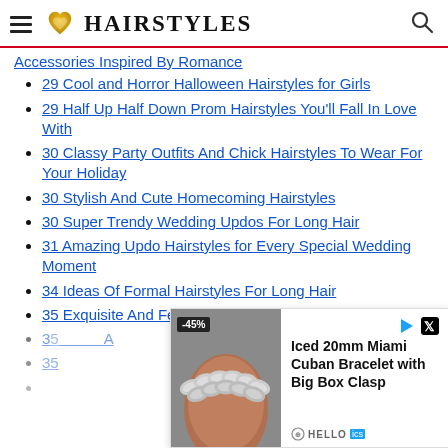HAIRSTYLES
Accessories Inspired By Romance
29 Cool and Horror Halloween Hairstyles for Girls
29 Half Up Half Down Prom Hairstyles You'll Fall In Love With
30 Classy Party Outfits And Chick Hairstyles To Wear For Your Holiday
30 Stylish And Cute Homecoming Hairstyles
30 Super Trendy Wedding Updos For Long Hair
31 Amazing Updo Hairstyles for Every Special Wedding Moment
34 Ideas Of Formal Hairstyles For Long Hair
35 Exquisite And Feminine Holiday Hair Ideas To Ro...
35...A...
35...
[Figure (screenshot): Advertisement overlay showing -45% discount on Iced 20mm Miami Cuban Bracelet with Big Box Clasp, by HELLO brand]